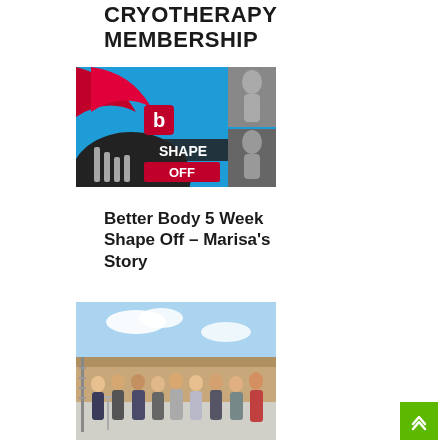CRYOTHERAPY MEMBERSHIP
[Figure (photo): Promotional image for 'Better Body Shape Off' challenge showing fitness/body imagery with the Better Body logo and red 'SHAPE OFF' text on blue background]
Better Body 5 Week Shape Off – Marisa's Story
[Figure (photo): Group photo of elderly people standing outdoors on a street or pathway on a sunny day]